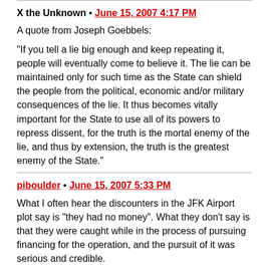X the Unknown • June 15, 2007 4:17 PM
A quote from Joseph Goebbels:
“If you tell a lie big enough and keep repeating it, people will eventually come to believe it. The lie can be maintained only for such time as the State can shield the people from the political, economic and/or military consequences of the lie. It thus becomes vitally important for the State to use all of its powers to repress dissent, for the truth is the mortal enemy of the lie, and thus by extension, the truth is the greatest enemy of the State.”
piboulder • June 15, 2007 5:33 PM
What I often hear the discounters in the JFK Airport plot say is “they had no money”. What they don't say is that they were caught while in the process of pursuing financing for the operation, and the pursuit of it was serious and credible.
What I find troubling about the discounting of the plot is while, yes, they may not have succeeded, we seem to forget